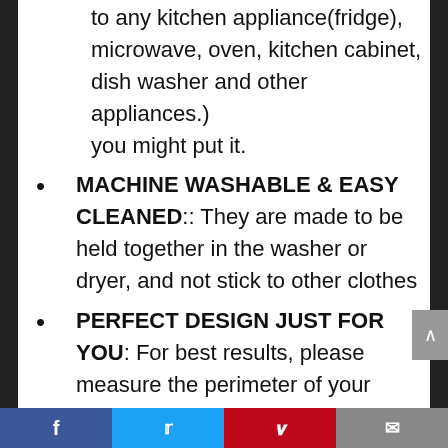to any kitchen appliance(fridge), microwave, oven, kitchen cabinet, dish washer and other appliances.) you might put it.
MACHINE WASHABLE & EASY CLEANED:: They are made to be held together in the washer or dryer, and not stick to other clothes
PERFECT DESIGN JUST FOR YOU: For best results, please measure the perimeter of your handle with a soft ruler. For customization design,Please email us your size.We will give you design link for ordering.
Social share bar: Facebook, Twitter, Pinterest, Email